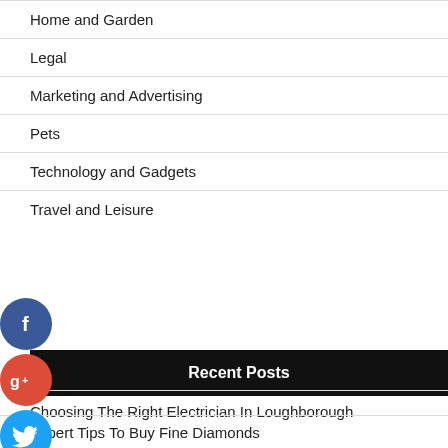Home and Garden
Legal
Marketing and Advertising
Pets
Technology and Gadgets
Travel and Leisure
[Figure (infographic): Social media share icons: Facebook (blue circle with f), Google+ (red circle with g+), Twitter (blue circle with bird), Add/Plus (dark blue circle with +)]
Recent Posts
Choosing The Right Electrician In Loughborough
Expert Tips To Buy Fine Diamonds
Different Types of Caster Wheels